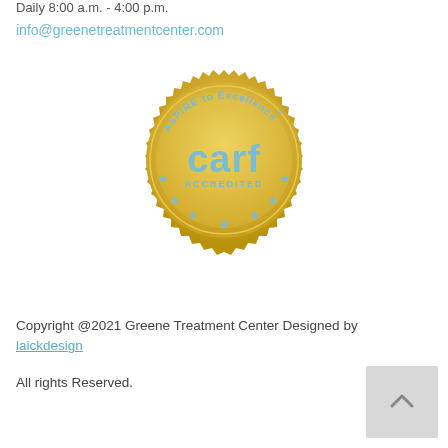Daily 8:00 a.m. - 4:00 p.m.
info@greenetreatmentcenter.com
[Figure (logo): CARF Accredited - Aspire to Excellence gold seal badge]
Copyright @2021 Greene Treatment Center Designed by laickdesign
All rights Reserved.